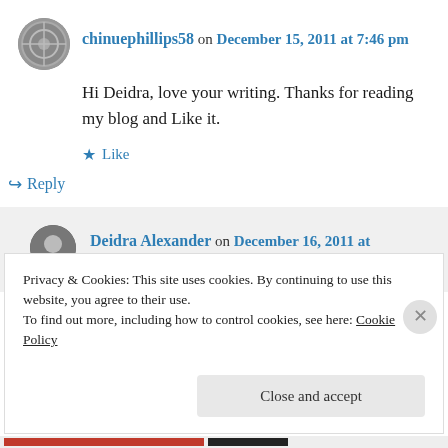chinuephillips58 on December 15, 2011 at 7:46 pm
Hi Deidra, love your writing. Thanks for reading my blog and Like it.
Like
Reply
Deidra Alexander on December 16, 2011 at 6:29 pm
Privacy & Cookies: This site uses cookies. By continuing to use this website, you agree to their use.
To find out more, including how to control cookies, see here: Cookie Policy